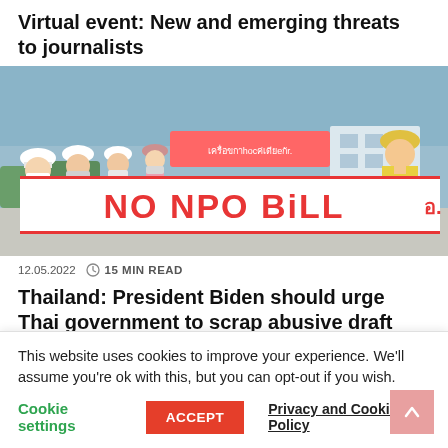Virtual event: New and emerging threats to journalists
[Figure (photo): Protest photo showing people holding a large banner reading 'NO NPO Bill' with Thai text on smaller banners, people wearing masks and hats]
12.05.2022  15 MIN READ
Thailand: President Biden should urge Thai government to scrap abusive draft NPO l...
This website uses cookies to improve your experience. We'll assume you're ok with this, but you can opt-out if you wish.
Cookie settings  ACCEPT  Privacy and Cookie Policy